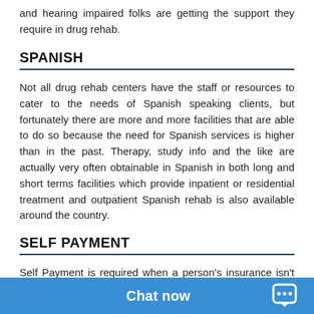and hearing impaired folks are getting the support they require in drug rehab.
SPANISH
Not all drug rehab centers have the staff or resources to cater to the needs of Spanish speaking clients, but fortunately there are more and more facilities that are able to do so because the need for Spanish services is higher than in the past. Therapy, study info and the like are actually very often obtainable in Spanish in both long and short terms facilities which provide inpatient or residential treatment and outpatient Spanish rehab is also available around the country.
SELF PAYMENT
Self Payment is required when a person's insurance isn't going to pay for the total cost of rehabilitation or will only pay for some of it. In these cases, it may appear like a disadvantage but people really have a gre... select whichever progra...